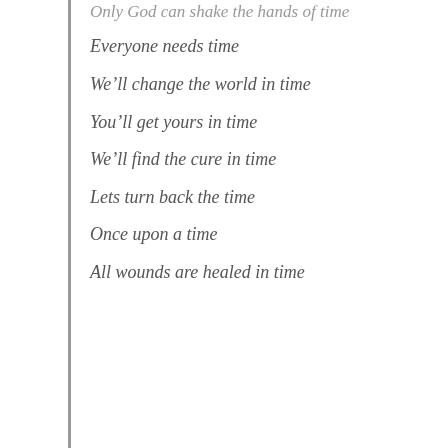Only God can shake the hands of time
Everyone needs time
We'll change the world in time
You'll get yours in time
We'll find the cure in time
Lets turn back the time
Once upon a time
All wounds are healed in time